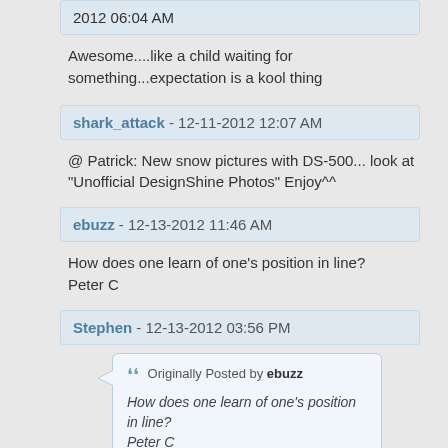2012 06:04 AM
Awesome....like a child waiting for something...expectation is a kool thing
shark_attack - 12-11-2012 12:07 AM
@ Patrick: New snow pictures with DS-500... look at "Unofficial DesignShine Photos" Enjoy^^
ebuzz - 12-13-2012 11:46 AM
How does one learn of one's position in line?
Peter C
Stephen - 12-13-2012 03:56 PM
Originally Posted by ebuzz
How does one learn of one's position in line?
Peter C